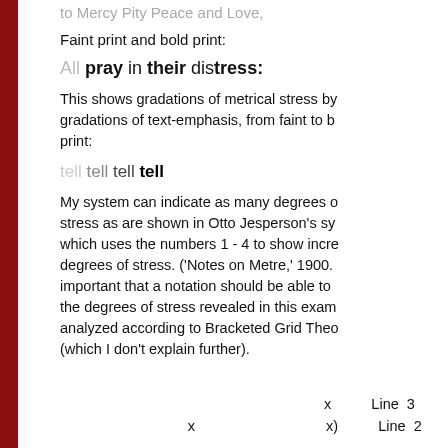to Mercy Pity Peace and Love,
Faint print and bold print:
All pray in their distress:
This shows gradations of metrical stress by gradations of text-emphasis, from faint to bold print:
tell tell tell tell
My system can indicate as many degrees of stress as are shown in Otto Jesperson's system, which uses the numbers 1 - 4 to show increasing degrees of stress. ('Notes on Metre,' 1900.) It is important that a notation should be able to show the degrees of stress revealed in this example, analyzed according to Bracketed Grid Theory (which I don't explain further).
|  | x | Line  3 |
| x | x) | Line  2 |